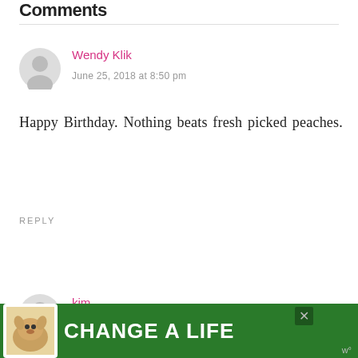Comments
Wendy Klik
June 25, 2018 at 8:50 pm
Happy Birthday. Nothing beats fresh picked peaches.
REPLY
kim
[Figure (infographic): Advertisement banner: green background with dog image and text 'CHANGE A LIFE']